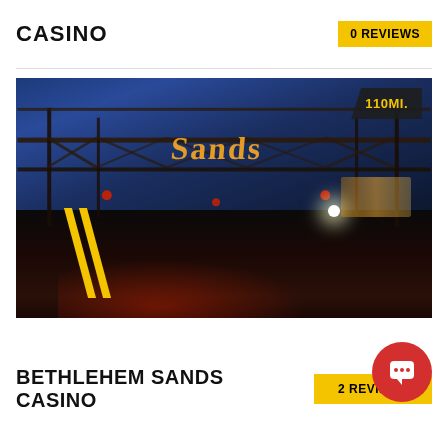CASINO
0 REVIEWS
[Figure (photo): Night photo of Bethlehem Sands Casino entrance with illuminated 'Sands' sign on a steel bridge/gantry structure over a wet road, with city lights reflecting on wet pavement. Distance badge showing 110MI. in top right corner.]
BETHLEHEM SANDS CASINO
2 REVIEWS